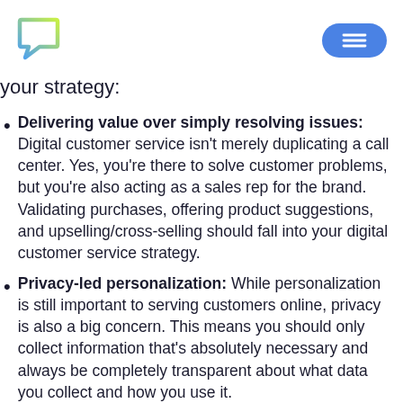[Figure (logo): Colorful chat bubble logo (gradient green-yellow outline) in top left]
[Figure (other): Blue rounded rectangle menu/hamburger button in top right]
your strategy:
Delivering value over simply resolving issues: Digital customer service isn't merely duplicating a call center. Yes, you're there to solve customer problems, but you're also acting as a sales rep for the brand. Validating purchases, offering product suggestions, and upselling/cross-selling should fall into your digital customer service strategy.
Privacy-led personalization: While personalization is still important to serving customers online, privacy is also a big concern. This means you should only collect information that's absolutely necessary and always be completely transparent about what data you collect and how you use it.